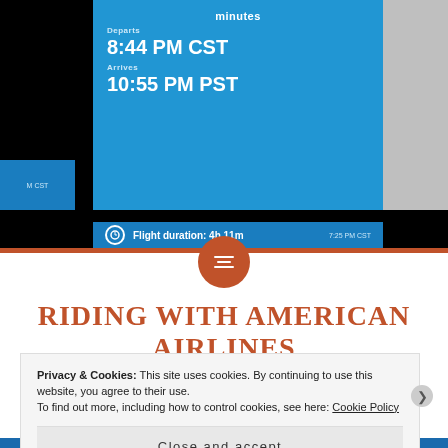[Figure (screenshot): Screenshot of an airline app or website showing flight departure time 8:44 PM CST, arrival time 10:55 PM PST, and flight duration 4h 11m]
RIDING WITH AMERICAN AIRLINES
Privacy & Cookies: This site uses cookies. By continuing to use this website, you agree to their use. To find out more, including how to control cookies, see here: Cookie Policy
Close and accept